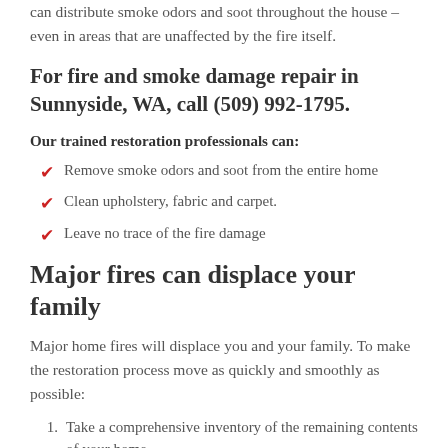can distribute smoke odors and soot throughout the house – even in areas that are unaffected by the fire itself.
For fire and smoke damage repair in Sunnyside, WA, call (509) 992-1795.
Our trained restoration professionals can:
Remove smoke odors and soot from the entire home
Clean upholstery, fabric and carpet.
Leave no trace of the fire damage
Major fires can displace your family
Major home fires will displace you and your family. To make the restoration process move as quickly and smoothly as possible:
Take a comprehensive inventory of the remaining contents of your home.
Move the your belongings to our secure, state-